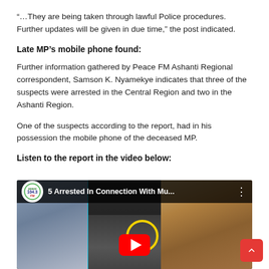“…They are being taken through lawful Police procedures. Further updates will be given in due time,” the post indicated.
Late MP’s mobile phone found:
Further information gathered by Peace FM Ashanti Regional correspondent, Samson K. Nyamekye indicates that three of the suspects were arrested in the Central Region and two in the Ashanti Region.
One of the suspects according to the report, had in his possession the mobile phone of the deceased MP.
Listen to the report in the video below:
[Figure (screenshot): YouTube video embed showing title '5 Arrested In Connection With Mu...' with Peace 104.3 FM logo]